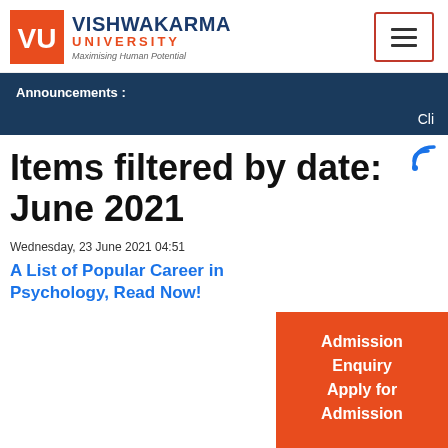[Figure (logo): Vishwakarma University logo with VU icon in orange square, university name in dark blue and orange, tagline 'Maximising Human Potential']
Announcements :
Cli
Items filtered by date: June 2021
Wednesday, 23 June 2021 04:51
A List of Popular Career in Psychology, Read Now!
Admission Enquiry
Apply for Admission